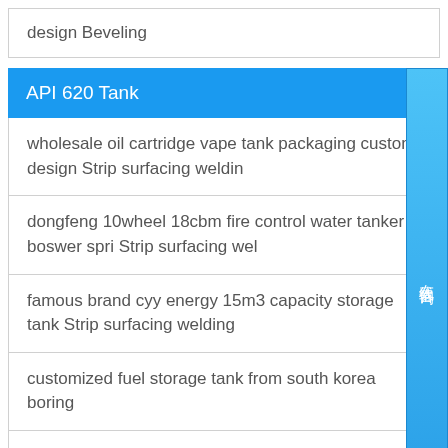design Beveling
API 620 Tank
wholesale oil cartridge vape tank packaging custom design Strip surfacing weldin
dongfeng 10wheel 18cbm fire control water tanker boswer spri Strip surfacing wel
famous brand cyy energy 15m3 capacity storage tank Strip surfacing welding
customized fuel storage tank from south korea boring
mongolia metal tank chemical Hole drilling